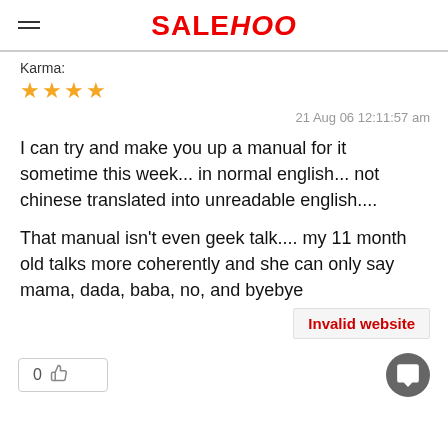SALEHOO
Karma:
★★★★
21 Aug 06 12:11:57 am
I can try and make you up a manual for it sometime this week... in normal english... not chinese translated into unreadable english....
That manual isn't even geek talk.... my 11 month old talks more coherently and she can only say mama, dada, baba, no, and byebye
Invalid website
0